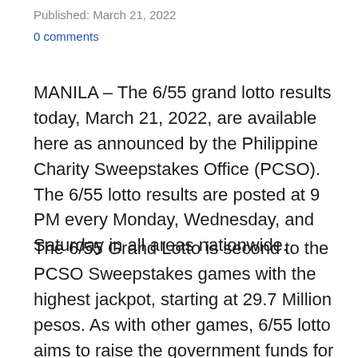Published: March 21, 2022
0 comments
MANILA – The 6/55 grand lotto results today, March 21, 2022, are available here as announced by the Philippine Charity Sweepstakes Office (PCSO). The 6/55 lotto results are posted at 9 PM every Monday, Wednesday, and Saturday in all areas nationwide.
The 6/55 Grand Lotto is second to the PCSO Sweepstakes games with the highest jackpot, starting at 29.7 Million pesos. As with other games, 6/55 lotto aims to raise the government funds for health programs, medical assistance